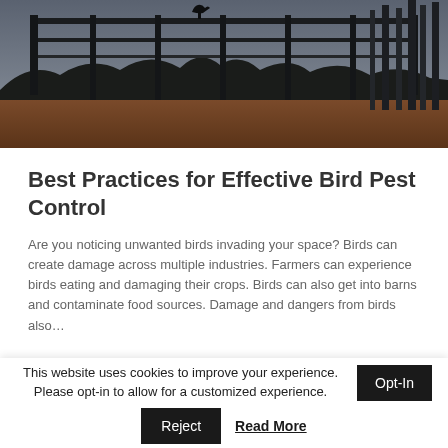[Figure (photo): Dark silhouette photo of a bird perched on a metal fence/railing structure at dusk, with trees and reddish-brown ground visible in the background.]
Best Practices for Effective Bird Pest Control
Are you noticing unwanted birds invading your space? Birds can create damage across multiple industries. Farmers can experience birds eating and damaging their crops. Birds can also get into barns and contaminate food sources. Damage and dangers from birds also…
This website uses cookies to improve your experience. Please opt-in to allow for a customized experience.
Opt-In
Reject
Read More